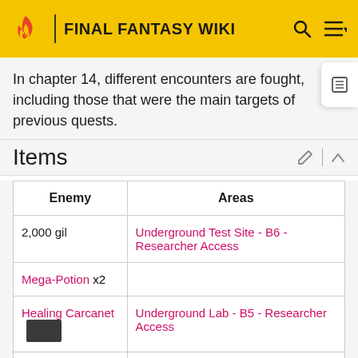FINAL FANTASY WIKI
In chapter 14, different encounters are fought, including those that were the main targets of previous quests.
Items
| Enemy | Areas |
| --- | --- |
| 2,000 gil | Underground Test Site - B6 - Researcher Access |
| Mega-Potion x2 |  |
| Healing Carcanet [image] | Underground Lab - B5 - Researcher Access |
| Ether | Underground Test Site - B2 - Type-D Specimens - Creche |